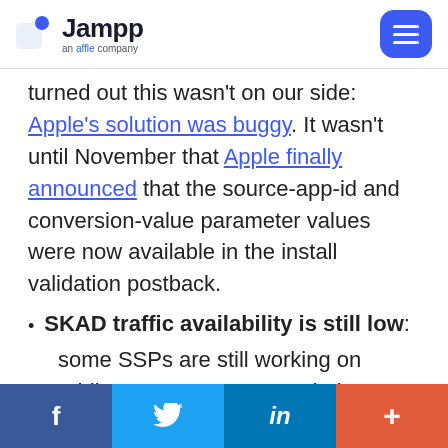Jampp an affle company
turned out this wasn't on our side: Apple's solution was buggy. It wasn't until November that Apple finally announced that the source-app-id and conversion-value parameter values were now available in the install validation postback.
SKAD traffic availability is still low: some SSPs are still working on adding SKAD support on their SDKs, and those
f  Twitter  in  +